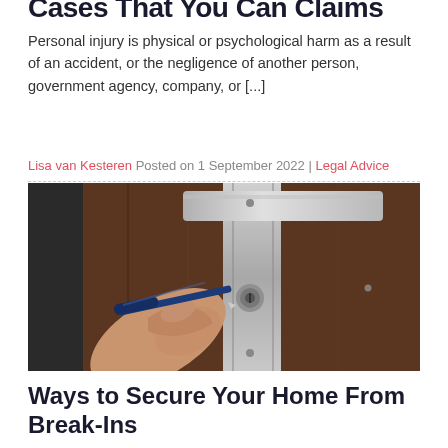Cases That You Can Claims
Personal injury is physical or psychological harm as a result of an accident, or the negligence of another person, government agency, company, or [...]
Lisa van Kesteren Posted on 1 September 2022 | Legal Advice
[Figure (photo): Close-up photo of a hand holding a screwdriver or lock-pick tool near a door lock mechanism on a dark wooden door with a silver metal lock plate.]
Ways to Secure Your Home From Break-Ins